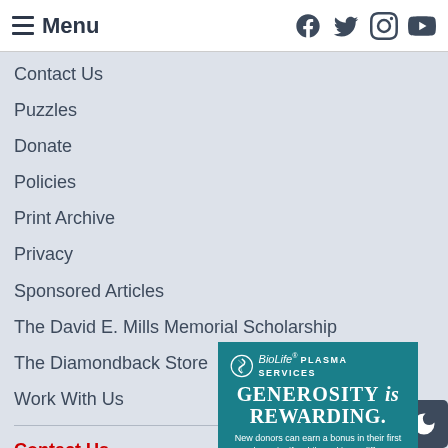Menu | Facebook Twitter Instagram YouTube
Contact Us
Puzzles
Donate
Policies
Print Archive
Privacy
Sponsored Articles
The David E. Mills Memorial Scholarship
The Diamondback Store
Work With Us
Contact Us
3150 South Ca...
University of M...
College Park, ...
Newsroom: 3...
[Figure (screenshot): BioLife Plasma Services advertisement overlay. Teal background with BioLife Plasma Services logo, headline 'GENEROSITY is REWARDING.', body text 'New donors can earn a bonus in their first month at BioLife while making a difference for people with rare diseases.', and URL www.biolifeplasma.com. Close button (X) in upper right.]